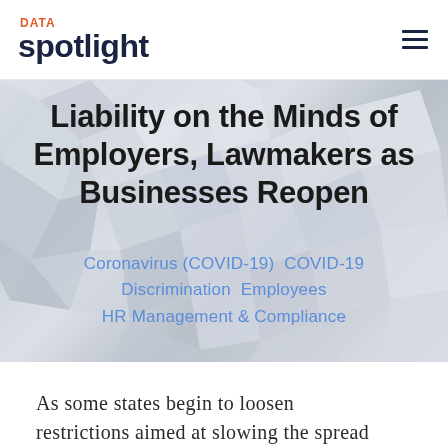DATA spotlight
[Figure (illustration): Abstract geometric background with white/grey angular polygon shapes forming a crystalline/faceted pattern]
Liability on the Minds of Employers, Lawmakers as Businesses Reopen
Coronavirus (COVID-19)  COVID-19  Discrimination  Employees  HR Management & Compliance
As some states begin to loosen restrictions aimed at slowing the spread